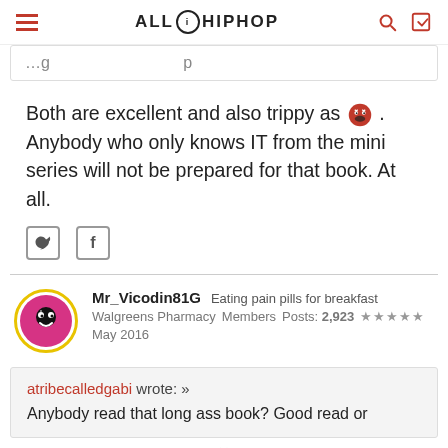ALLHIPHOP
...g...p (truncated navigation bar)
Both are excellent and also trippy as 😡. Anybody who only knows IT from the mini series will not be prepared for that book. At all.
Mr_Vicodin81G   Eating pain pills for breakfast
Walgreens Pharmacy   Members   Posts: 2,923   ★★★★★
May 2016
atribecalledgabi wrote: »
Anybody read that long ass book? Good read or